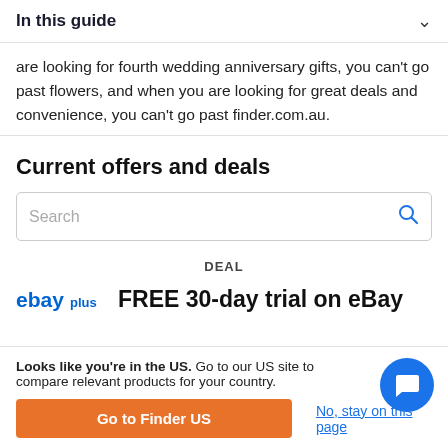In this guide
are looking for fourth wedding anniversary gifts, you can't go past flowers, and when you are looking for great deals and convenience, you can't go past finder.com.au.
Current offers and deals
[Figure (screenshot): Search box with placeholder text 'Search' and a blue search icon on the right]
DEAL
[Figure (logo): eBay Plus logo in blue]
FREE 30-day trial on eBay
Looks like you're in the US. Go to our US site to compare relevant products for your country.
Go to Finder US
No, stay on this page